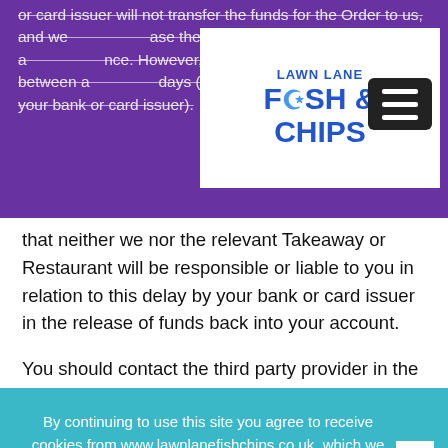[Figure (logo): Lawn Lane Fish & Chips logo in white box on purple background]
or card issuer will not transfer the funds for the Order to us, and we will release the relevant amount back into your account balance. However, this may take between a and days (or longer, depending on your bank or card issuer). You acknowledge and agree that neither we nor the relevant Takeaway or Restaurant will be responsible or liable to you in relation to this delay by your bank or card issuer in the release of funds back into your account.
You should contact the third party provider in the first instance should You require and further information about a product or have a query or complaint. We will try to resolve any disputes between you and any third party
By continuing to use this site you agree to receive cookies from www.lawnlanefishchips.co.uk, which we use to enhance your site experience and for analytical purposes. To read more about how we use this data visit our Cookies page.